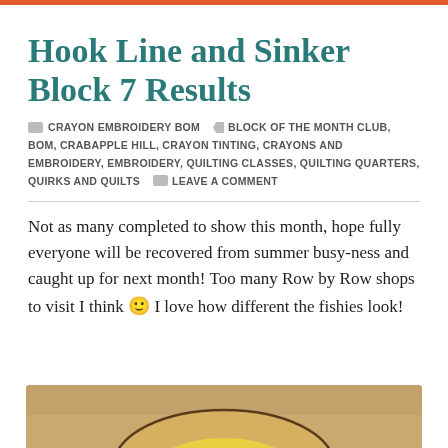Hook Line and Sinker Block 7 Results
CRAYON EMBROIDERY BOM   BLOCK OF THE MONTH CLUB, BOM, CRABAPPLE HILL, CRAYON TINTING, CRAYONS AND EMBROIDERY, EMBROIDERY, QUILTING CLASSES, QUILTING QUARTERS, QUIRKS AND QUILTS   LEAVE A COMMENT
Not as many completed to show this month, hope fully everyone will be recovered from summer busy-ness and caught up for next month! Too many Row by Row shops to visit I think 🙂 I love how different the fishies look!
[Figure (photo): A photo of an embroidered or crayon-tinted fish design on tan/beige fabric with yellow coloring visible at the bottom portion]